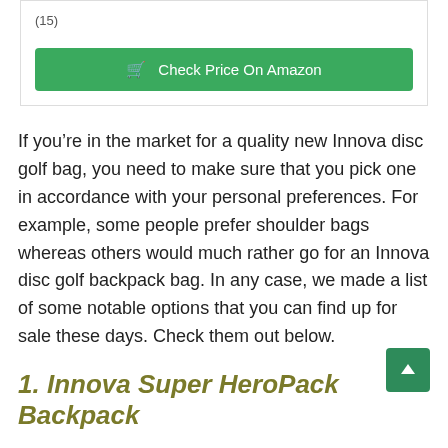(15)
[Figure (other): Green 'Check Price On Amazon' button with shopping cart icon]
If you’re in the market for a quality new Innova disc golf bag, you need to make sure that you pick one in accordance with your personal preferences. For example, some people prefer shoulder bags whereas others would much rather go for an Innova disc golf backpack bag. In any case, we made a list of some notable options that you can find up for sale these days. Check them out below.
1. Innova Super HeroPack Backpack